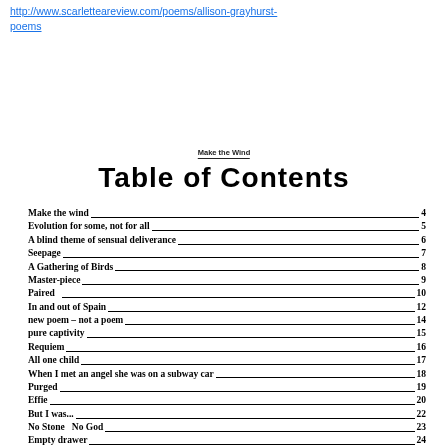http://www.scarletteareview.com/poems/allison-grayhurst-poems
Make the Wind
Table of Contents
Make the wind ... 4
Evolution for some, not for all ... 5
A blind theme of sensual deliverance ... 6
Seepage ... 7
A Gathering of Birds ... 8
Master-piece ... 9
Paired ... 10
In and out of Spain ... 12
new poem – not a poem ... 14
pure captivity ... 15
Requiem ... 16
All one child ... 17
When I met an angel she was on a subway car ... 18
Purged ... 19
Effie ... 20
But I was... ... 22
No Stone  No God ... 23
Empty drawer ... 24
I can see the sun ... 25
Entering the organic spa-spot ... 26